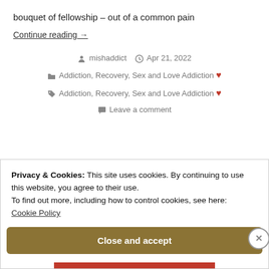bouquet of fellowship – out of a common pain
Continue reading →
mishaddict  Apr 21, 2022  Addiction, Recovery, Sex and Love Addiction ❤  Addiction, Recovery, Sex and Love Addiction ❤  Leave a comment
Privacy & Cookies: This site uses cookies. By continuing to use this website, you agree to their use. To find out more, including how to control cookies, see here: Cookie Policy
Close and accept